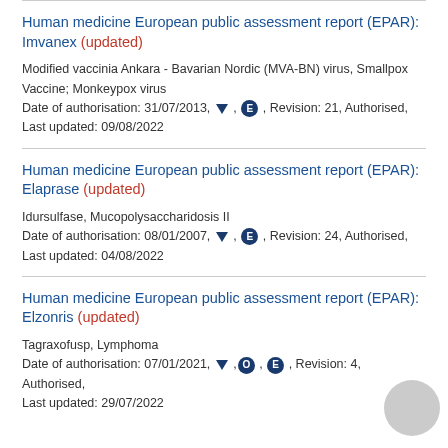Human medicine European public assessment report (EPAR): Imvanex (updated)
Modified vaccinia Ankara - Bavarian Nordic (MVA-BN) virus, Smallpox Vaccine; Monkeypox virus
Date of authorisation: 31/07/2013, ▼, E, Revision: 21, Authorised,
Last updated: 09/08/2022
Human medicine European public assessment report (EPAR): Elaprase (updated)
Idursulfase, Mucopolysaccharidosis II
Date of authorisation: 08/01/2007, ▼, E, Revision: 24, Authorised,
Last updated: 04/08/2022
Human medicine European public assessment report (EPAR): Elzonris (updated)
Tagraxofusp, Lymphoma
Date of authorisation: 07/01/2021, ▼, O, E, Revision: 4, Authorised,
Last updated: 29/07/2022